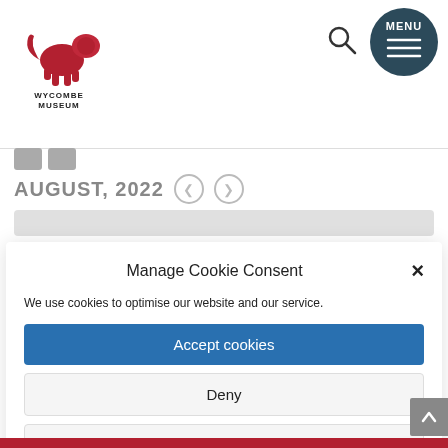[Figure (logo): Wycombe Museum red lion logo with text WYCOMBE MUSEUM below]
[Figure (screenshot): Search icon magnifying glass]
[Figure (screenshot): Dark circle MENU button with hamburger lines]
AUGUST, 2022
Manage Cookie Consent
We use cookies to optimise our website and our service.
Accept cookies
Deny
View preferences
Cookie Policy